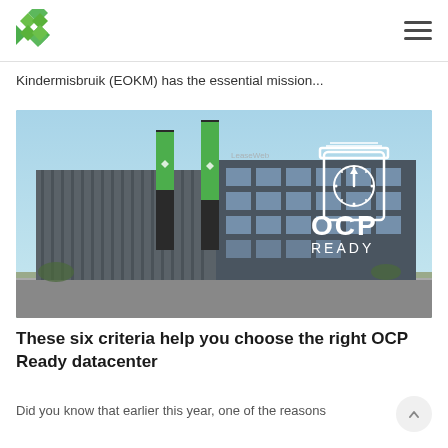Logo and navigation menu
Kindermisbruik (EOKM) has the essential mission...
[Figure (photo): Exterior photograph of a modern datacenter building with green banner flags and OCP READY logo overlay in white on the right side]
These six criteria help you choose the right OCP Ready datacenter
Did you know that earlier this year, one of the reasons